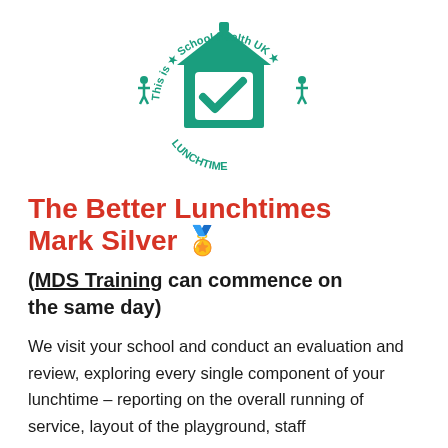[Figure (logo): School Health UK 'Better Lunchtimes' circular logo in teal/green: a house shape with a checkmark inside, surrounded by text reading 'This is...' and 'School Health UK' and 'TIME', with small human figures as decorative elements.]
The Better Lunchtimes Mark Silver 🏅
(MDS Training can commence on the same day)
We visit your school and conduct an evaluation and review, exploring every single component of your lunchtime – reporting on the overall running of service, layout of the playground, staff